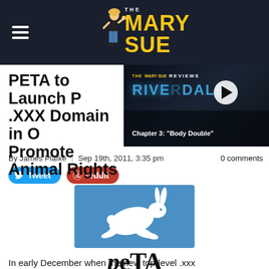THE MARY SUE
[Figure (screenshot): The Mary Sue website header with logo, mascot illustration, and hamburger menu on dark navy background]
[Figure (screenshot): Video overlay showing The Mary Sue Reviews: Riverdale Chapter 3 Body Double with play button]
PETA to Launch P .XXX Domain in C Promote Animal Rights
By James Plafke | Sep 19th, 2011, 3:35 pm   0 comments
[Figure (illustration): Tweet and Reddit social sharing buttons]
[Figure (logo): PETA logo with white rabbit silhouette on blue background and PETA text below]
In early December when the new top-level .xxx